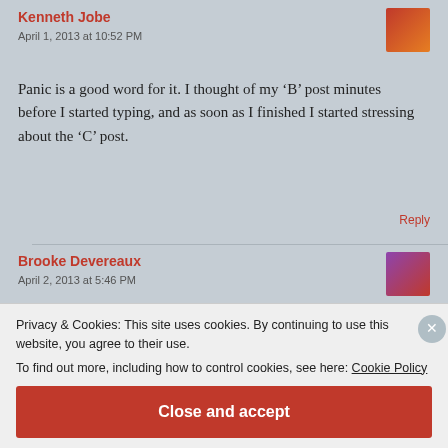Kenneth Jobe
April 1, 2013 at 10:52 PM
Panic is a good word for it. I thought of my ‘B’ post minutes before I started typing, and as soon as I finished I started stressing about the ‘C’ post.
Reply
Brooke Devereaux
April 2, 2013 at 5:46 PM
Privacy & Cookies: This site uses cookies. By continuing to use this website, you agree to their use.
To find out more, including how to control cookies, see here: Cookie Policy
Close and accept